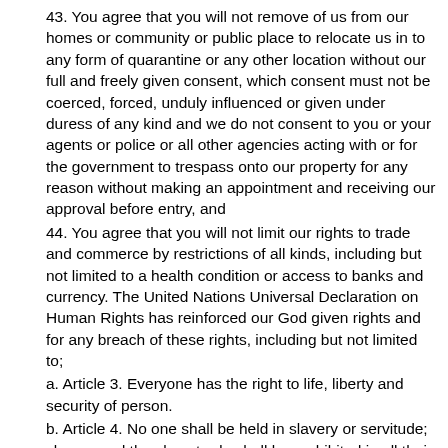43. You agree that you will not remove of us from our homes or community or public place to relocate us in to any form of quarantine or any other location without our full and freely given consent, which consent must not be coerced, forced, unduly influenced or given under duress of any kind and we do not consent to you or your agents or police or all other agencies acting with or for the government to trespass onto our property for any reason without making an appointment and receiving our approval before entry, and
44. You agree that you will not limit our rights to trade and commerce by restrictions of all kinds, including but not limited to a health condition or access to banks and currency. The United Nations Universal Declaration on Human Rights has reinforced our God given rights and for any breach of these rights, including but not limited to;
a. Article 3. Everyone has the right to life, liberty and security of person.
b. Article 4. No one shall be held in slavery or servitude; slavery and the slave trade shall be prohibited in all their forms.
c. Article 5. No one shall be subjected to torture or to cruel, inhuman or degrading treatment or punishment.
d. Article 6. Everyone has the right to recognition